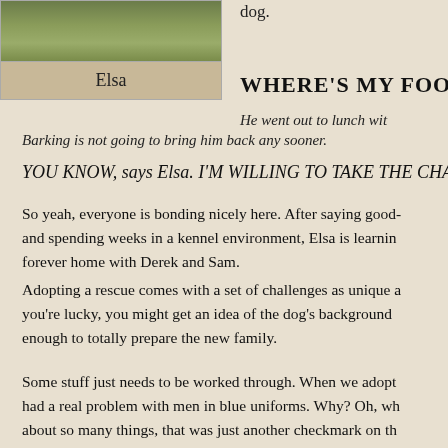[Figure (photo): Photo of a dog (Elsa) outdoors on grass]
Elsa
dog.
WHERE'S MY FOOD
He went out to lunch wit
Barking is not going to bring him back any sooner.
YOU KNOW, says Elsa. I'M WILLING TO TAKE THE CHA
So yeah, everyone is bonding nicely here. After saying good- and spending weeks in a kennel environment, Elsa is learning forever home with Derek and Sam.
Adopting a rescue comes with a set of challenges as unique as you're lucky, you might get an idea of the dog's background enough to totally prepare the new family.
Some stuff just needs to be worked through. When we adopt had a real problem with men in blue uniforms. Why? Oh, wh about so many things, that was just another checkmark on th